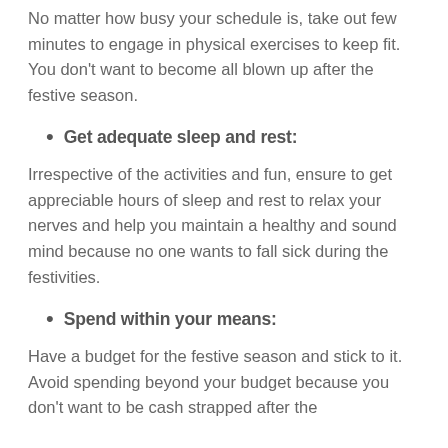No matter how busy your schedule is, take out few minutes to engage in physical exercises to keep fit. You don't want to become all blown up after the festive season.
Get adequate sleep and rest:
Irrespective of the activities and fun, ensure to get appreciable hours of sleep and rest to relax your nerves and help you maintain a healthy and sound mind because no one wants to fall sick during the festivities.
Spend within your means:
Have a budget for the festive season and stick to it. Avoid spending beyond your budget because you don't want to be cash strapped after the